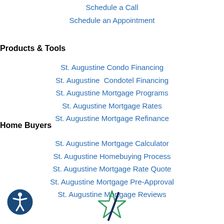Schedule a Call
Schedule an Appointment
Products & Tools
St. Augustine Condo Financing
St. Augustine  Condotel Financing
St. Augustine Mortgage Programs
St. Augustine Mortgage Rates
St. Augustine Mortgage Refinance
Home Buyers
St. Augustine Mortgage Calculator
St. Augustine Homebuying Process
St. Augustine Mortgage Rate Quote
St. Augustine Mortgage Pre-Approval
St. Augustine Mortgage Reviews
[Figure (logo): Accessibility icon - circular dark blue button with white person figure with arms outstretched]
[Figure (logo): Star logo - green outlined star shape with dark navy diagonal slash through center]